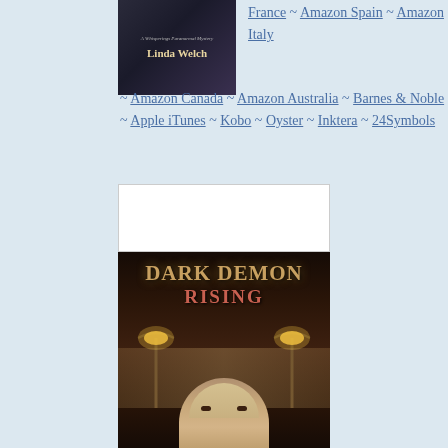[Figure (illustration): Book cover for a paranormal mystery by Linda Welch, dark background with author name]
France ~ Amazon Spain ~ Amazon Italy ~ Amazon Canada ~ Amazon Australia ~ Barnes & Noble ~ Apple iTunes ~ Kobo ~ Oyster ~ Inktera ~ 24Symbols
[Figure (illustration): Book cover for 'Dark Demon Rising' showing a woman with street lamps and dark atmospheric background in warm amber tones]